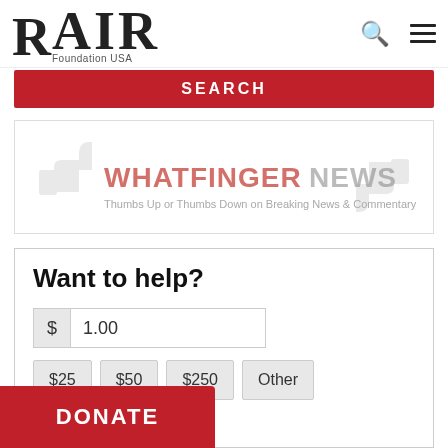[Figure (logo): RAIR Foundation USA logo with stylized R in red/blue and bold AIR text]
[Figure (screenshot): Search bar with red background and white SEARCH text]
[Figure (logo): Whatfinger News logo with thumbs up and thumbs down icons, subtitle: Thumbs Up or Thumbs Down on Breaking News & Commentary]
Want to help?
$ 1.00
$25 $50 $250 Other
Personal Info
e * ?
[Figure (screenshot): DONATE button in red with white text]